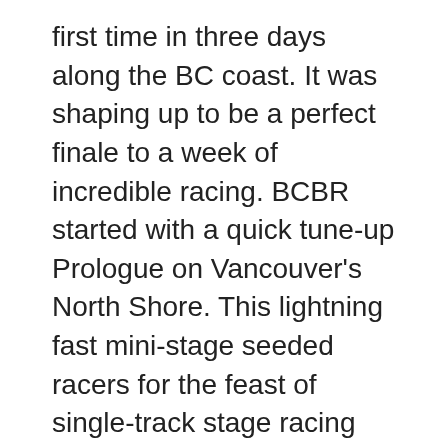first time in three days along the BC coast. It was shaping up to be a perfect finale to a week of incredible racing. BCBR started with a quick tune-up Prologue on Vancouver's North Shore. This lightning fast mini-stage seeded racers for the feast of single-track stage racing that would follow.
From the North Shore, they traveled to North Cowichan on Vancouver Island for a two-mountain, one-stage opening day on some beautiful Mount Tzouhalem and Maple Mountain trail. Then it was off to the grit of Cumberland's hand built singletrack, slick and spicy from some overnight rain that would raise the pucker factor.